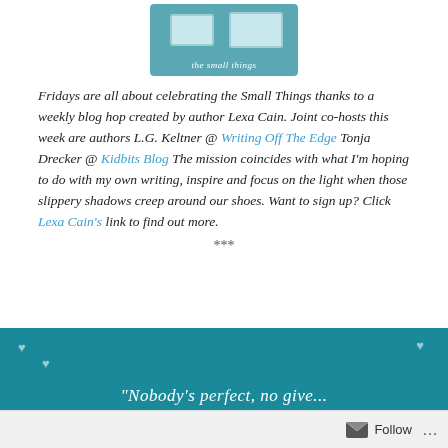[Figure (illustration): Logo image for 'the small things' blog hop, showing two container/box shapes on a teal background with the text 'the small things' below]
Fridays are all about celebrating the Small Things thanks to a weekly blog hop created by author Lexa Cain. Joint co-hosts this week are authors L.G. Keltner @ Writing Off The Edge Tonja Drecker @ Kidbits Blog The mission coincides with what I'm hoping to do with my own writing, inspire and focus on the light when those slippery shadows creep around our shoes. Want to sign up? Click Lexa Cain's link to find out more.
***
[Figure (illustration): Teal/dark blue background image with small white heart shapes scattered, beginning of a quote text at the bottom]
Follow ...